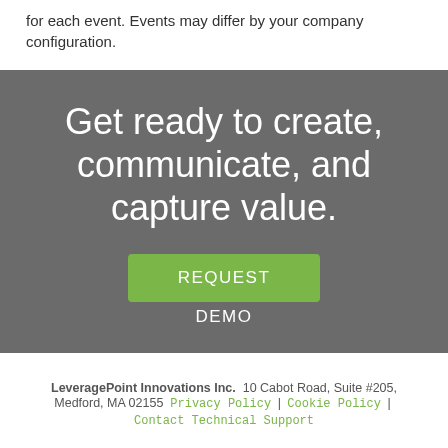for each event. Events may differ by your company configuration.
[Figure (infographic): Dark gray banner with large white text 'Get ready to create, communicate, and capture value.' and a green REQUEST DEMO button below.]
LeveragePoint Innovations Inc.  10 Cabot Road, Suite #205, Medford, MA 02155  Privacy Policy | Cookie Policy | Contact Technical Support